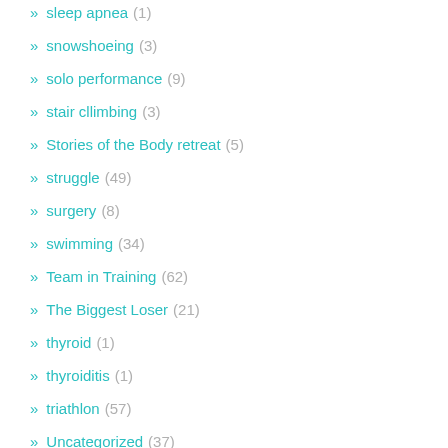sleep apnea (1)
snowshoeing (3)
solo performance (9)
stair cllimbing (3)
Stories of the Body retreat (5)
struggle (49)
surgery (8)
swimming (34)
Team in Training (62)
The Biggest Loser (21)
thyroid (1)
thyroiditis (1)
triathlon (57)
Uncategorized (37)
video! (2)